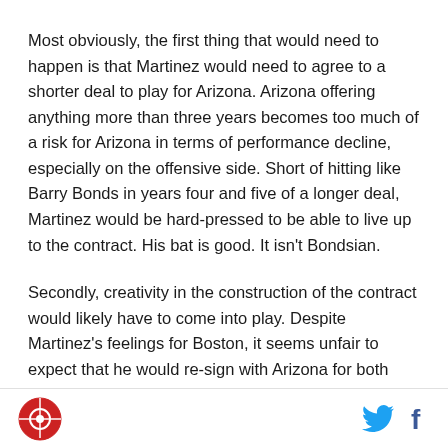Most obviously, the first thing that would need to happen is that Martinez would need to agree to a shorter deal to play for Arizona. Arizona offering anything more than three years becomes too much of a risk for Arizona in terms of performance decline, especially on the offensive side. Short of hitting like Barry Bonds in years four and five of a longer deal, Martinez would be hard-pressed to be able to live up to the contract. His bat is good. It isn't Bondsian.
Secondly, creativity in the construction of the contract would likely have to come into play. Despite Martinez's feelings for Boston, it seems unfair to expect that he would re-sign with Arizona for both fewer years and
logo and social icons